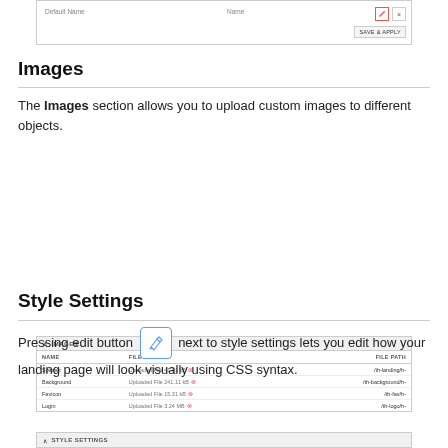[Figure (screenshot): UI panel showing a form with Default Name and Name fields, edit (pencil) and close (x) buttons in top right, and a SAVE & APPLY button in bottom right.]
Images
The Images section allows you to upload custom images to different objects.
[Figure (screenshot): IMAGES table UI panel with columns NAME, FILE, FILE PATH and rows: Spinner (Uploaded File 41.91 kB, /th-landing/th-), Background (Uploaded File 241.11 kB, /th-background/th-), Favicon (Uploaded File 15.31 kB, /th-fav/th-), Login (Uploaded File 3.24 MB, /th-logo/th-)]
Style Settings
Pressing edit button [pencil icon] next to style settings lets you edit how your landing page will look visually using CSS syntax.
[Figure (screenshot): STYLE SETTINGS panel header bar at bottom of page.]